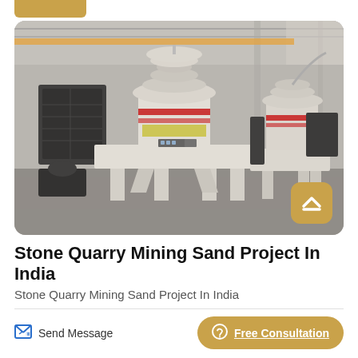[Figure (photo): Industrial sand making machine / VSI crusher equipment in a large warehouse/factory setting. Two large cream/white colored crushing machines with red accent stripes, black electrical panels, sitting on a concrete floor under a steel roof structure.]
Stone Quarry Mining Sand Project In India
Stone Quarry Mining Sand Project In India
Send Message
Free Consultation